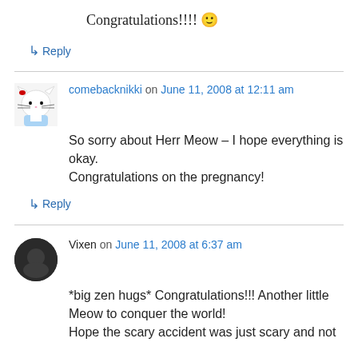Congratulations!!!! 🙂
↳ Reply
comebacknikki on June 11, 2008 at 12:11 am
So sorry about Herr Meow – I hope everything is okay.
Congratulations on the pregnancy!
↳ Reply
Vixen on June 11, 2008 at 6:37 am
*big zen hugs* Congratulations!!! Another little Meow to conquer the world!
Hope the scary accident was just scary and not